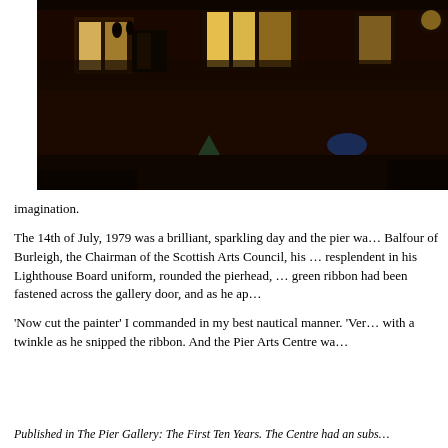[Figure (photo): Night photograph of a building exterior with illuminated windows, dark brick facade, and a small Christmas tree visible in the lower left corner.]
imagination.

The 14th of July, 1979 was a brilliant, sparkling day and the pier wa... Balfour of Burleigh, the Chairman of the Scottish Arts Council, his ... resplendent in his Lighthouse Board uniform, rounded the pierhead, ... green ribbon had been fastened across the gallery door, and as he ap...

'Now cut the painter' I commanded in my best nautical manner. 'Ver... with a twinkle as he snipped the ribbon. And the Pier Arts Centre wa...
Published in The Pier Gallery: The First Ten Years. The Centre had an subs...